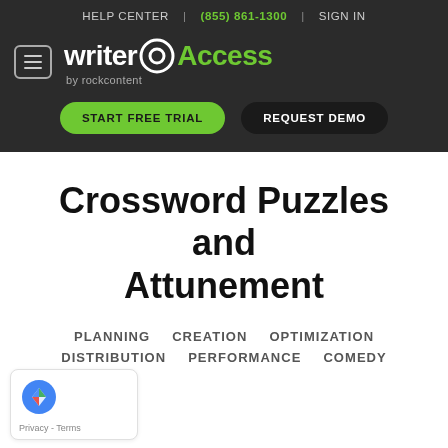HELP CENTER | (855) 861-1300 | SIGN IN
[Figure (logo): WriterAccess by rockcontent logo with hamburger menu icon]
START FREE TRIAL   REQUEST DEMO
Crossword Puzzles and Attunement
PLANNING   CREATION   OPTIMIZATION   DISTRIBUTION   PERFORMANCE   COMEDY
[Figure (other): Google reCAPTCHA badge with Privacy and Terms links]